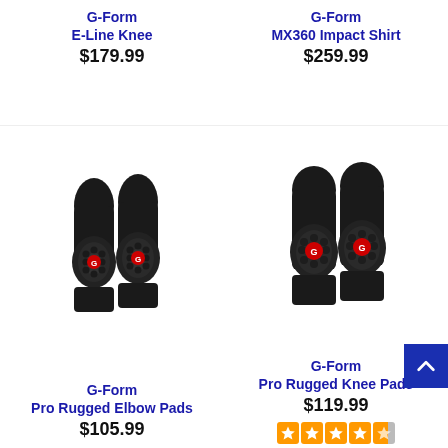G-Form
E-Line Knee
$179.99
G-Form
MX360 Impact Shirt
$259.99
[Figure (photo): G-Form Pro Rugged Elbow Pads - pair of black protective elbow pads with red G-Form logo]
G-Form
Pro Rugged Elbow Pads
$105.99
[Figure (photo): G-Form Pro Rugged Knee Pads - pair of black protective knee pads with red G-Form logo]
G-Form
Pro Rugged Knee Pads
$119.99
[Figure (other): Orange star rating display showing approximately 4.5 out of 5 stars]